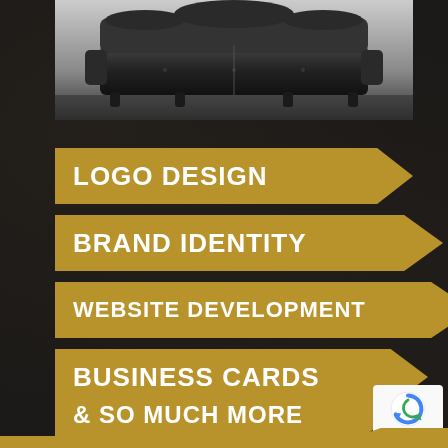[Figure (photo): Black and white photo of an ornate baroque-style sofa/settee at the top of the image]
LOGO DESIGN
BRAND IDENTITY
WEBSITE DEVELOPMENT
BUSINESS CARDS
& SO MUCH MORE
[Figure (logo): Google reCAPTCHA badge with Privacy and Terms links]